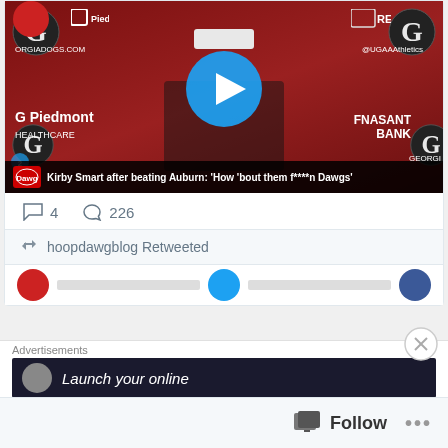[Figure (screenshot): Twitter/social media screenshot showing a video thumbnail of Kirby Smart press conference with Georgia Bulldogs branding on red background, play button overlay, caption bar reading 'Kirby Smart after beating Auburn: How bout them f****n Dawgs']
4   226
hoopdawgblog Retweeted
Blog Stats
264,679 hits
Advertisements
Launch your online...
Follow